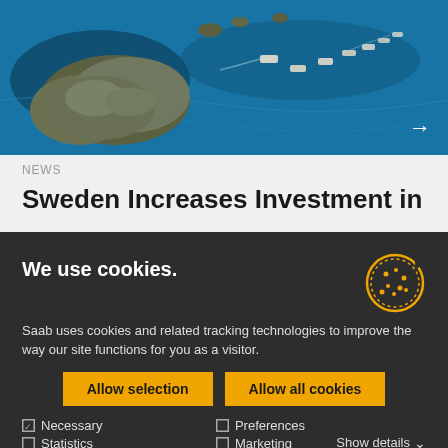[Figure (photo): Aerial photograph of rocky islands surrounded by blue sea water with several boats or vessels visible, taken from a drone/helicopter perspective.]
NEWS
Sweden Increases Investment in
We use cookies.
Saab uses cookies and related tracking technologies to improve the way our site functions for you as a visitor.
Allow selection
Allow all cookies
Necessary
Preferences
Statistics
Marketing
Show details